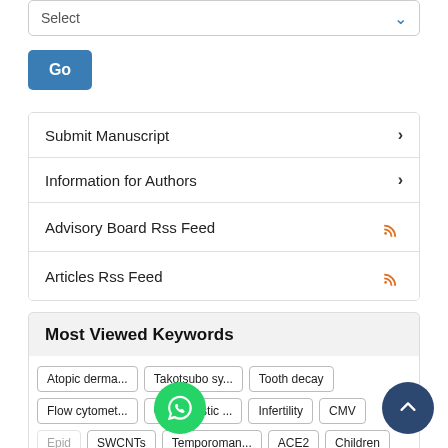[Figure (screenshot): Select dropdown box with downward chevron arrow]
[Figure (screenshot): Blue Go button]
Submit Manuscript
Information for Authors
Advisory Board Rss Feed
Articles Rss Feed
Most Viewed Keywords
Atopic derma... | Takotsubo sy... | Tooth decay | Flow cytomet... | Osetoclastic ... | Infertility | CMV | Epid... | SWCNTs | Temporoman... | ACE2 | Children | Obesity... | Polymeric co... | Differential ... | Scapular dys...